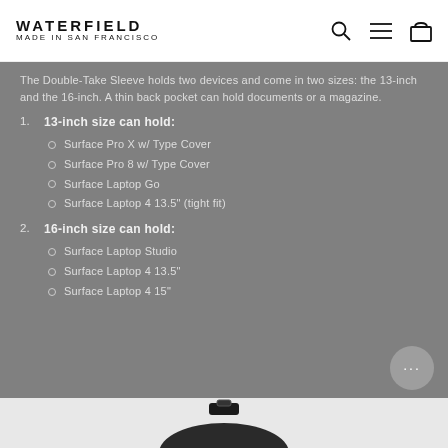WATERFIELD MADE IN SAN FRANCISCO
The Double-Take Sleeve holds two devices and come in two sizes: the 13-inch and the 16-inch. A thin back pocket can hold documents or a magazine.
1. 13-inch size can hold:
Surface Pro X w/ Type Cover
Surface Pro 8 w/ Type Cover
Surface Laptop Go
Surface Laptop 4 13.5" (tight fit)
2. 16-inch size can hold:
Surface Laptop Studio
Surface Laptop 4 13.5"
Surface Laptop 4 15"
[Figure (photo): Bottom portion of a Waterfield bag shown against a light background]